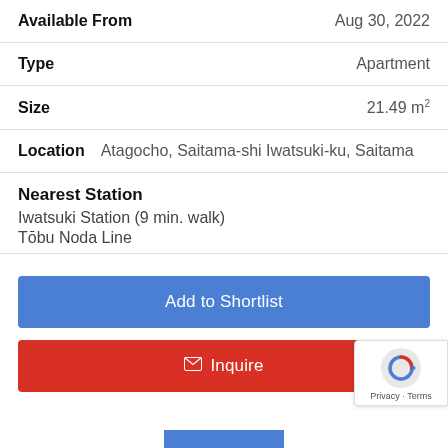| Available From | Aug 30, 2022 |
| Type | Apartment |
| Size | 21.49 m² |
| Location | Atagocho, Saitama-shi Iwatsuki-ku, Saitama |
Nearest Station
Iwatsuki Station (9 min. walk)
Tōbu Noda Line
Add to Shortlist
Inquire